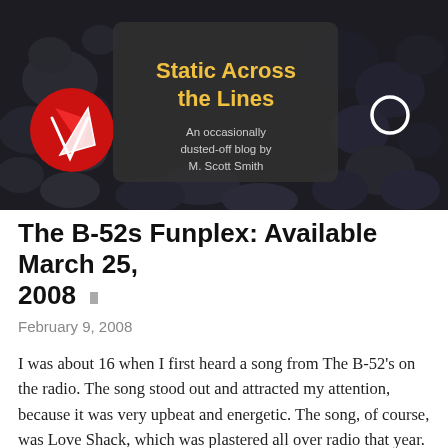[Figure (photo): Blog header banner image showing dark stones/rocks with a red circular logo on the left, overlaid with a dark rounded rectangle containing the blog title 'Static Across the Lines' in gold/yellow text and subtitle 'An occasionally dusted-off blog by M. Scott Smith' in light gray text]
The B-52s Funplex: Available March 25, 2008
February 9, 2008
I was about 16 when I first heard a song from The B-52's on the radio. The song stood out and attracted my attention, because it was very upbeat and energetic. The song, of course, was Love Shack, which was plastered all over radio that year. I had